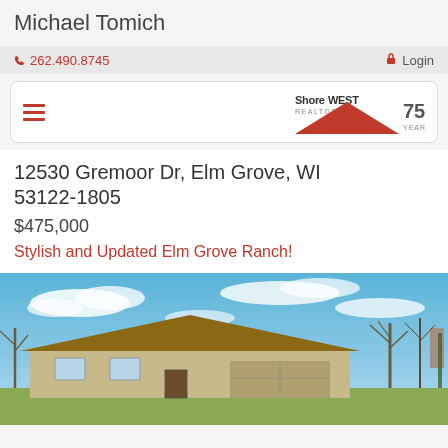Michael Tomich
262.490.8745
Login
[Figure (logo): Shorewest Realtors 75 Years logo with red triangle/roof shape]
12530 Gremoor Dr, Elm Grove, WI 53122-1805
$475,000
Stylish and Updated Elm Grove Ranch!
[Figure (photo): Exterior photo of a ranch-style home with blue sky and bare trees in background]